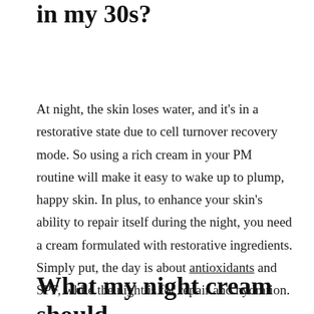in my 30s?
At night, the skin loses water, and it's in a restorative state due to cell turnover recovery mode. So using a rich cream in your PM routine will make it easy to wake up to plump, happy skin. In plus, to enhance your skin's ability to repair itself during the night, you need a cream formulated with restorative ingredients. Simply put, the day is about antioxidants and SPF, while the night is for repair and hydration.
What my night cream should